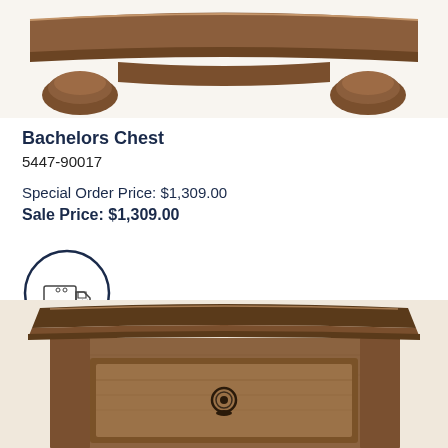[Figure (photo): Top portion of a wooden bachelors chest with ornate bun feet and curved molding, shown in dark walnut finish]
Bachelors Chest
5447-90017
Special Order Price: $1,309.00
Sale Price: $1,309.00
[Figure (illustration): Cartoon delivery truck inside a dark navy circle, representing shipping/delivery service]
[Figure (photo): Close-up of the top portion of a brown wooden chest with a single drawer featuring a round ring pull hardware, in walnut finish]